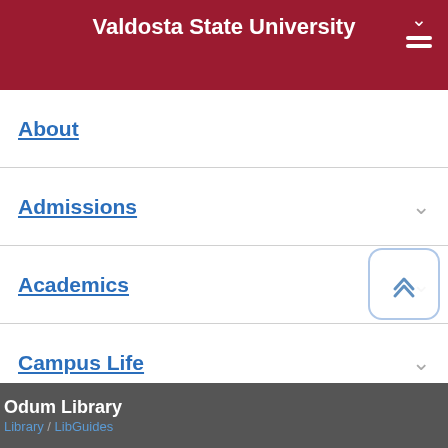Valdosta State University
About
Admissions
Academics
Campus Life
Athletics
Alumni
Odum Library  Library / LibGuides